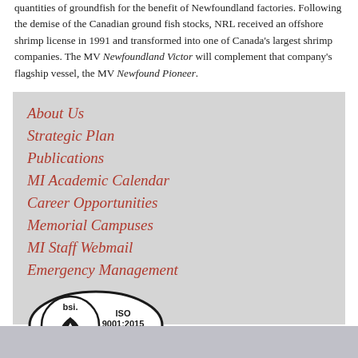quantities of groundfish for the benefit of Newfoundland factories. Following the demise of the Canadian ground fish stocks, NRL received an offshore shrimp license in 1991 and transformed into one of Canada's largest shrimp companies. The MV Newfoundland Victor will complement that company's flagship vessel, the MV Newfound Pioneer.
About Us
Strategic Plan
Publications
MI Academic Calendar
Career Opportunities
Memorial Campuses
MI Staff Webmail
Emergency Management
[Figure (logo): BSI ISO 9001:2015 Quality Management certification logo — oval shape with bsi. text and a heart/diamond icon on the left, ISO 9001:2015 Quality Management text on the right]